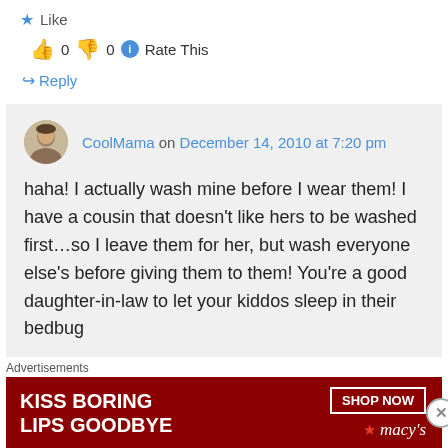★ Like
👍 0 👎 0 ℹ Rate This
↪ Reply
CoolMama on December 14, 2010 at 7:20 pm
haha! I actually wash mine before I wear them! I have a cousin that doesn't like hers to be washed first...so I leave them for her, but wash everyone else's before giving them to them! You're a good daughter-in-law to let your kiddos sleep in their bedbug
Advertisements
[Figure (other): Macy's advertisement banner: KISS BORING LIPS GOODBYE with SHOP NOW button and Macy's logo]